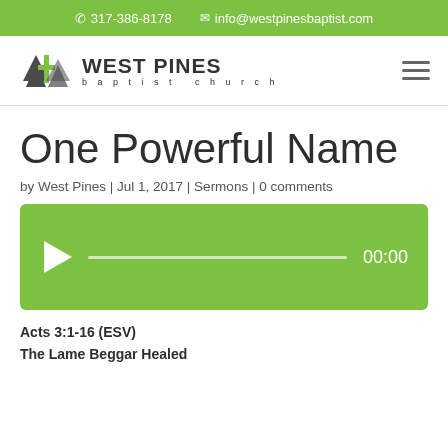317-386-8178  info@westpinesbaptist.com
[Figure (logo): West Pines Baptist Church logo with pine tree and cross icon]
One Powerful Name
by West Pines | Jul 1, 2017 | Sermons | 0 comments
[Figure (screenshot): Green audio player with play button, progress bar, and time display showing 00:00]
Acts 3:1-16 (ESV)
The Lame Beggar Healed